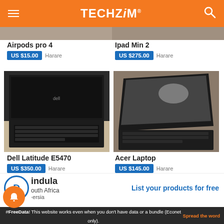TECHZiM
Airpods pro 4 | US $15.00 | Harare
Ipad Min 2 | US $275.00 | Harare
[Figure (photo): Dell Latitude E5470 laptop, top-down view showing keyboard]
[Figure (photo): Acer Laptop, angled view showing keyboard and screen]
Dell Latitude E5470 | US $350.00 | Harare
Acer Laptop | US $145.00 | Harare
Pindula | List your products for free
South Africa
#FreeData! This website works even when you don't have data or a bundle (Econet only). | Spread the word